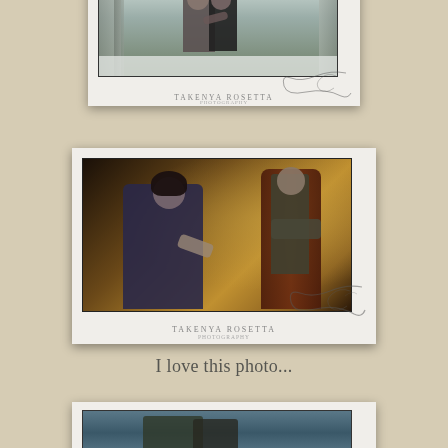[Figure (photo): Framed photograph of a couple embracing outdoors in a snowy winter scene with bare trees, with decorative swirl border and watermark reading TAKENYA ROSETTA PHOTOGRAPHY]
[Figure (photo): Framed photograph of a couple in an intimate indoor pose, woman in dark blue dress leaning against man seated in ornate chair, warm golden tones, with decorative swirl border and watermark reading TAKENYA ROSETTA PHOTOGRAPHY]
I love this photo...
[Figure (photo): Partially visible framed photograph at bottom of page, appears to show couple in outdoor setting with blue tones]